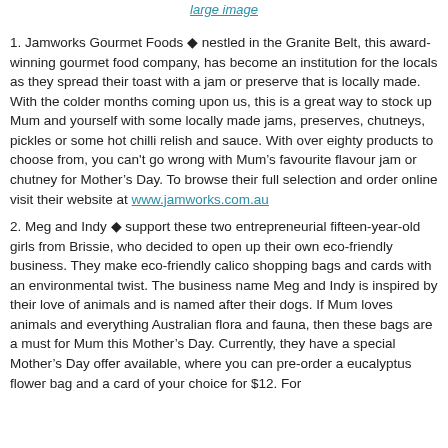large image
1. Jamworks Gourmet Foods ◆ nestled in the Granite Belt, this award-winning gourmet food company, has become an institution for the locals as they spread their toast with a jam or preserve that is locally made. With the colder months coming upon us, this is a great way to stock up Mum and yourself with some locally made jams, preserves, chutneys, pickles or some hot chilli relish and sauce. With over eighty products to choose from, you can't go wrong with Mum’s favourite flavour jam or chutney for Mother’s Day. To browse their full selection and order online visit their website at www.jamworks.com.au
2. Meg and Indy ◆ support these two entrepreneurial fifteen-year-old girls from Brissie, who decided to open up their own eco-friendly business. They make eco-friendly calico shopping bags and cards with an environmental twist. The business name Meg and Indy is inspired by their love of animals and is named after their dogs. If Mum loves animals and everything Australian flora and fauna, then these bags are a must for Mum this Mother’s Day. Currently, they have a special Mother’s Day offer available, where you can pre-order a eucalyptus flower bag and a card of your choice for $12. For